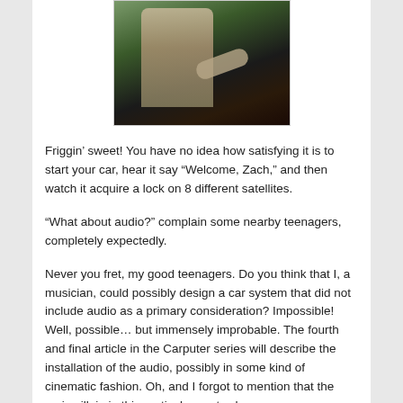[Figure (photo): Photo of a person sitting in the driver's seat of a car, shot from outside through the window, with greenery visible in background.]
Friggin’ sweet! You have no idea how satisfying it is to start your car, hear it say “Welcome, Zach,” and then watch it acquire a lock on 8 different satellites.
“What about audio?” complain some nearby teenagers, completely expectedly.
Never you fret, my good teenagers. Do you think that I, a musician, could possibly design a car system that did not include audio as a primary consideration? Impossible! Well, possible… but immensely improbable. The fourth and final article in the Carputer series will describe the installation of the audio, possibly in some kind of cinematic fashion. Oh, and I forgot to mention that the main villain in this particular post, who swore vengeance on the carputer in a very prophetic manner, died – but